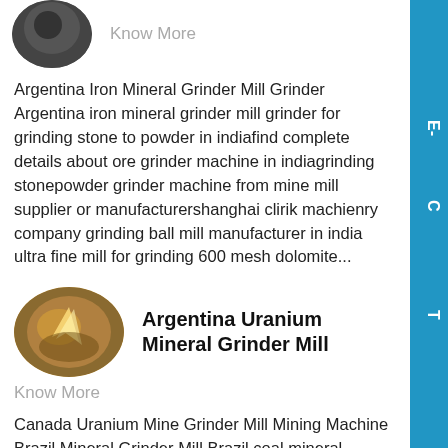[Figure (photo): Partial oval/circle image at top left, dark background]
Know More
Argentina Iron Mineral Grinder Mill Grinder Argentina iron mineral grinder mill grinder for grinding stone to powder in indiafind complete details about ore grinder machine in indiagrinding stonepowder grinder machine from mine mill supplier or manufacturershanghai clirik machienry company grinding ball mill manufacturer in india ultra fine mill for grinding 600 mesh dolomite...
[Figure (photo): Oval image showing sparks/welding, brownish tones]
Argentina Uranium Mineral Grinder Mill
Know More
Canada Uranium Mine Grinder Mill Mining Machine Brazil Mineral Grinder Mill Brazil coal mineral grinder mill brazil coal mineral grinder mill brazil coal minerals ball mill brazil coal minerals grinder mill brazil coal